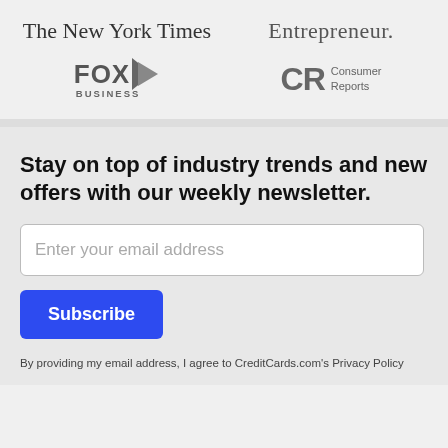[Figure (logo): The New York Times logo in serif font]
[Figure (logo): Entrepreneur logo in serif font]
[Figure (logo): Fox Business logo with triangle graphic]
[Figure (logo): Consumer Reports CR logo]
Stay on top of industry trends and new offers with our weekly newsletter.
Enter your email address
Subscribe
By providing my email address, I agree to CreditCards.com's Privacy Policy